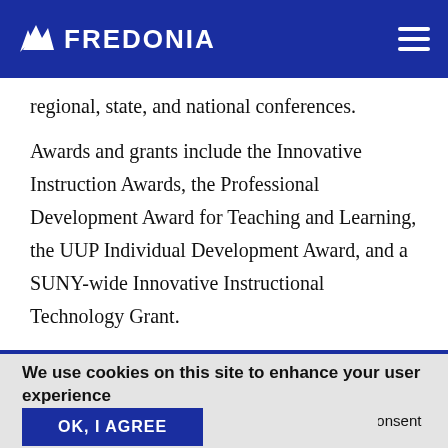FREDONIA
regional, state, and national conferences.
Awards and grants include the Innovative Instruction Awards, the Professional Development Award for Teaching and Learning, the UUP Individual Development Award, and a SUNY-wide Innovative Instructional Technology Grant.
We use cookies on this site to enhance your user experience
By clicking any link on this page you are giving your consent for us to set cookies.
OK, I AGREE